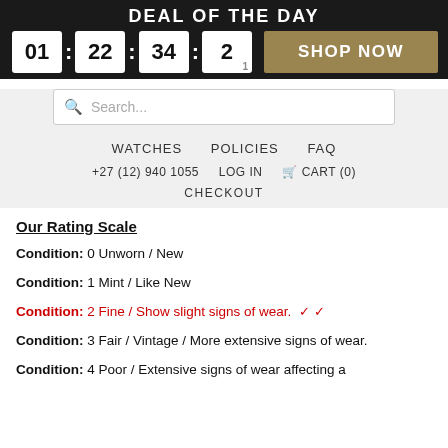DEAL OF THE DAY
01 : 22 : 34 : 21   SHOP NOW
Search...
WATCHES   POLICIES   FAQ
+27 (12) 940 1055   LOG IN   CART (0)
CHECKOUT
Our Rating Scale
Condition: 0 Unworn / New
Condition: 1 Mint / Like New
Condition: 2 Fine / Show slight signs of wear. ✓ ✓
Condition: 3 Fair / Vintage / More extensive signs of wear.
Condition: 4 Poor / Extensive signs of wear affecting a